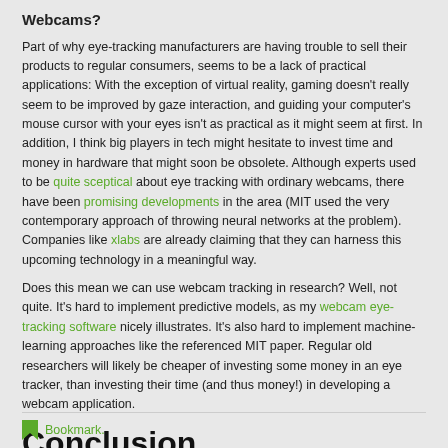Webcams?
Part of why eye-tracking manufacturers are having trouble to sell their products to regular consumers, seems to be a lack of practical applications: With the exception of virtual reality, gaming doesn’t really seem to be improved by gaze interaction, and guiding your computer’s mouse cursor with your eyes isn’t as practical as it might seem at first. In addition, I think big players in tech might hesitate to invest time and money in hardware that might soon be obsolete. Although experts used to be quite sceptical about eye tracking with ordinary webcams, there have been promising developments in the area (MIT used the very contemporary approach of throwing neural networks at the problem). Companies like xlabs are already claiming that they can harness this upcoming technology in a meaningful way.
Does this mean we can use webcam tracking in research? Well, not quite. It’s hard to implement predictive models, as my webcam eye-tracking software nicely illustrates. It’s also hard to implement machine-learning approaches like the referenced MIT paper. Regular old researchers will likely be cheaper of investing some money in an eye tracker, than investing their time (and thus money!) in developing a webcam application.
Conclusion
EyeTribe, please come back!
Bookmark.